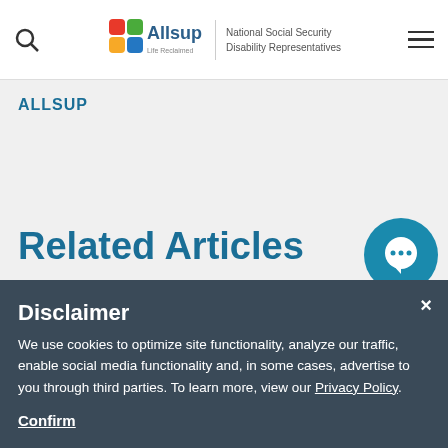Allsup | National Social Security Disability Representatives
ALLSUP
Related Articles
Disclaimer
We use cookies to optimize site functionality, analyze our traffic, enable social media functionality and, in some cases, advertise to you through third parties. To learn more, view our Privacy Policy.
Confirm